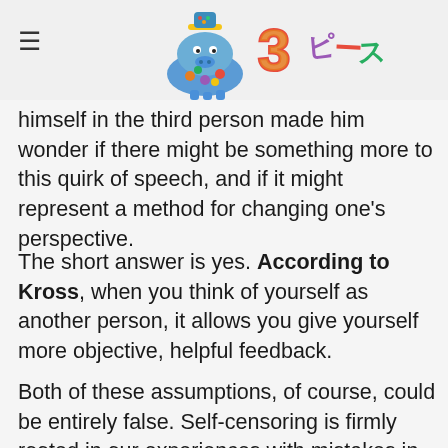≡  [Logo: 3pieces with hippo illustration]
himself in the third person made him wonder if there might be something more to this quirk of speech, and if it might represent a method for changing one's perspective.
The short answer is yes. According to Kross, when you think of yourself as another person, it allows you give yourself more objective, helpful feedback.
Both of these assumptions, of course, could be entirely false. Self-censoring is firmly rooted in our experiences with mistakes in the past and not the present. The brain messages arising from those experiences can be deceptive. And if what our